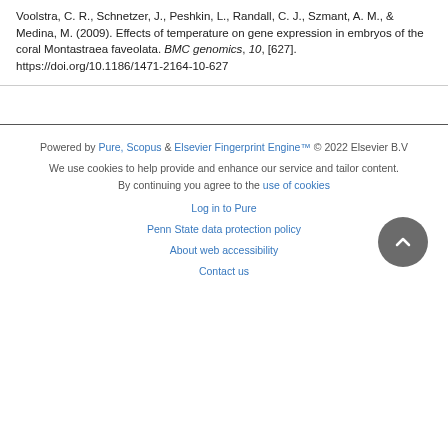Voolstra, C. R., Schnetzer, J., Peshkin, L., Randall, C. J., Szmant, A. M., & Medina, M. (2009). Effects of temperature on gene expression in embryos of the coral Montastraea faveolata. BMC genomics, 10, [627]. https://doi.org/10.1186/1471-2164-10-627
Powered by Pure, Scopus & Elsevier Fingerprint Engine™ © 2022 Elsevier B.V
We use cookies to help provide and enhance our service and tailor content. By continuing you agree to the use of cookies
Log in to Pure
Penn State data protection policy
About web accessibility
Contact us